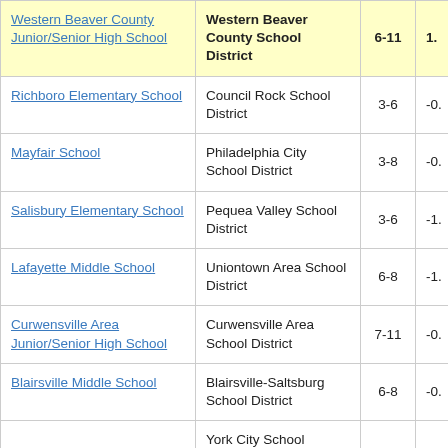| School | District | Grades | Value |
| --- | --- | --- | --- |
| Western Beaver County Junior/Senior High School | Western Beaver County School District | 6-11 | 1. |
| Richboro Elementary School | Council Rock School District | 3-6 | -0. |
| Mayfair School | Philadelphia City School District | 3-8 | -0. |
| Salisbury Elementary School | Pequea Valley School District | 3-6 | -1. |
| Lafayette Middle School | Uniontown Area School District | 6-8 | -1. |
| Curwensville Area Junior/Senior High School | Curwensville Area School District | 7-11 | -0. |
| Blairsville Middle School | Blairsville-Saltsburg School District | 6-8 | -0. |
| (partial) | York City School |  |  |